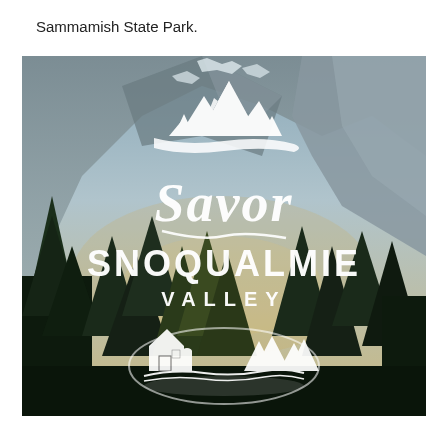Sammamish State Park.
[Figure (photo): Outdoor photograph of a mountain valley landscape with snow-dusted evergreen trees and rocky mountain cliffs in the background. Overlaid in the center is a white illustrated logo reading 'Savor Snoqualmie Valley' with decorative mountain, tree, and barn/river scene illustrations in white.]